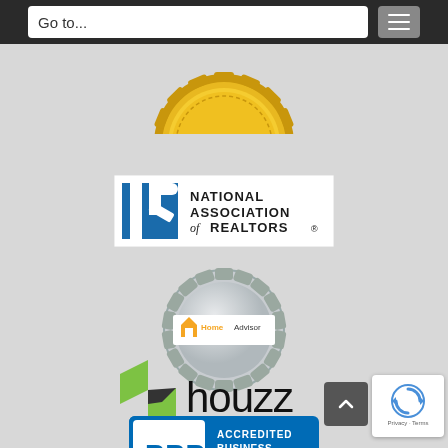[Figure (screenshot): Navigation bar with 'Go to...' input field and hamburger menu button on dark background]
[Figure (logo): Partially visible gold certification seal at top of page]
[Figure (logo): National Association of REALTORS logo - blue square with R mark and text]
[Figure (logo): HomeAdvisor badge - silver gear/seal shape with HomeAdvisor branding]
[Figure (logo): Houzz logo - green angular H icon with 'houzz' text in black]
[Figure (logo): BBB Accredited Business badge partially visible at bottom]